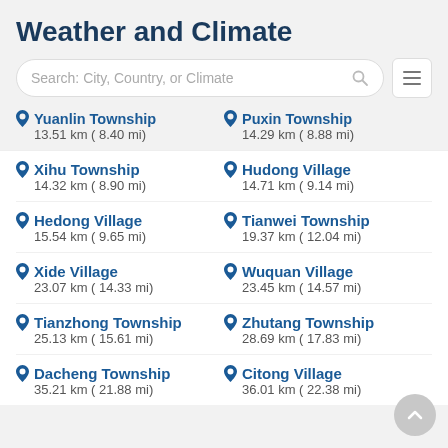Weather and Climate
[Figure (screenshot): Search bar with placeholder text 'Search: City, Country, or Climate' and a hamburger menu icon]
Yuanlin Township
13.51 km ( 8.40 mi)
Puxin Township
14.29 km ( 8.88 mi)
Xihu Township
14.32 km ( 8.90 mi)
Hudong Village
14.71 km ( 9.14 mi)
Hedong Village
15.54 km ( 9.65 mi)
Tianwei Township
19.37 km ( 12.04 mi)
Xide Village
23.07 km ( 14.33 mi)
Wuquan Village
23.45 km ( 14.57 mi)
Tianzhong Township
25.13 km ( 15.61 mi)
Zhutang Township
28.69 km ( 17.83 mi)
Dacheng Township
35.21 km ( 21.88 mi)
Citong Village
36.01 km ( 22.38 mi)